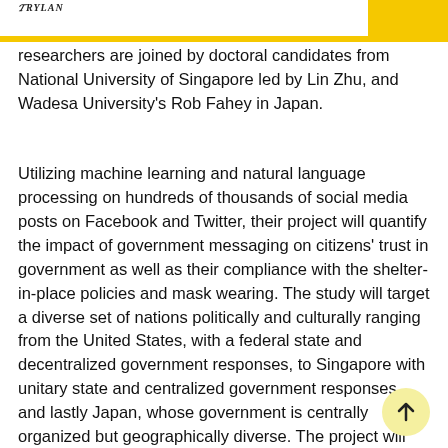RYLAN
researchers are joined by doctoral candidates from National University of Singapore led by Lin Zhu, and Wadesa University's Rob Fahey in Japan.
Utilizing machine learning and natural language processing on hundreds of thousands of social media posts on Facebook and Twitter, their project will quantify the impact of government messaging on citizens' trust in government as well as their compliance with the shelter-in-place policies and mask wearing. The study will target a diverse set of nations politically and culturally ranging from the United States, with a federal state and decentralized government responses, to Singapore with unitary state and centralized government responses, and lastly Japan, whose government is centrally organized but geographically diverse. The project will not only help to probe the impacts of various government communication strategies in the social media age but also inform the government's choice of effective messaging in different cultural and political contexts.